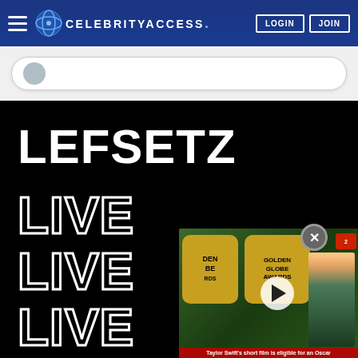CelebrityAccess — Navigation bar with LOGIN and JOIN buttons
[Figure (screenshot): CelebrityAccess website screenshot showing Lefsetz Live branding on black background with LEFSETZ in large white bold text and LIVE repeated three times in outlined text. A Golden Globe Awards video thumbnail overlay appears in bottom right with a play button and caption 'Taylor Swift's short film is eligible for an Oscar'.]